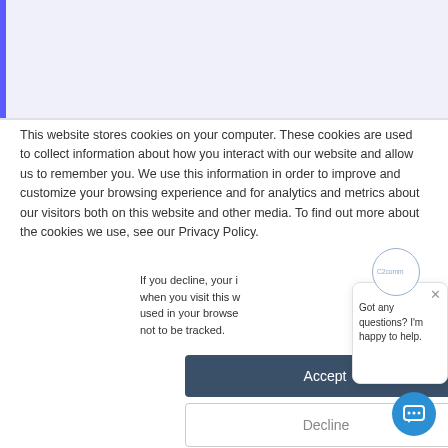[Figure (screenshot): Top banner area with left blue accent bar and light gray/purple background]
This website stores cookies on your computer. These cookies are used to collect information about how you interact with our website and allow us to remember you. We use this information in order to improve and customize your browsing experience and for analytics and metrics about our visitors both on this website and other media. To find out more about the cookies we use, see our Privacy Policy.
If you decline, your i when you visit this w used in your browse not to be tracked.
[Figure (screenshot): Chat popup with avatar circle showing C2comm logo, close X button, and text 'Got any questions? I'm happy to help.']
Got any questions? I'm happy to help.
[Figure (screenshot): Accept button - dark blue/slate rounded rectangle]
Accept
[Figure (screenshot): Decline button - white with border rounded rectangle]
Decline
[Figure (screenshot): Blue circular chat button in bottom right corner with chat icon]